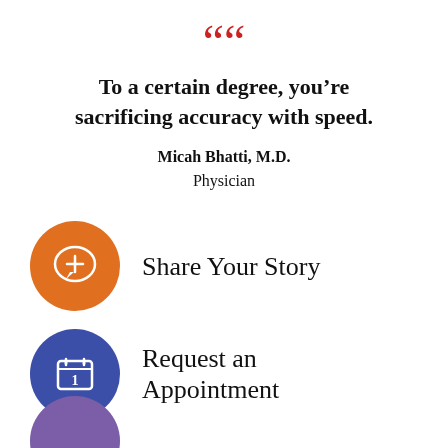““
To a certain degree, you’re sacrificing accuracy with speed.
Micah Bhatti, M.D.
Physician
Share Your Story
Request an Appointment